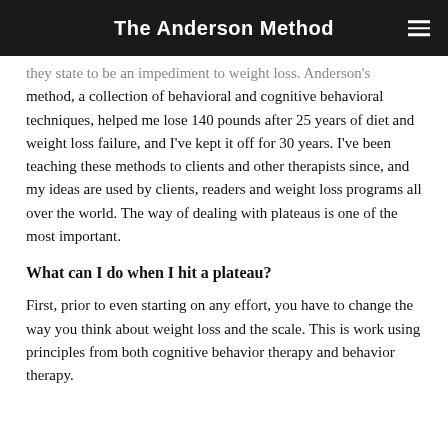The Anderson Method
they state to be an impediment to weight loss. Anderson's method, a collection of behavioral and cognitive behavioral techniques, helped me lose 140 pounds after 25 years of diet and weight loss failure, and I've kept it off for 30 years. I've been teaching these methods to clients and other therapists since, and my ideas are used by clients, readers and weight loss programs all over the world. The way of dealing with plateaus is one of the most important.
What can I do when I hit a plateau?
First, prior to even starting on any effort, you have to change the way you think about weight loss and the scale. This is work using principles from both cognitive behavior therapy and behavior therapy.